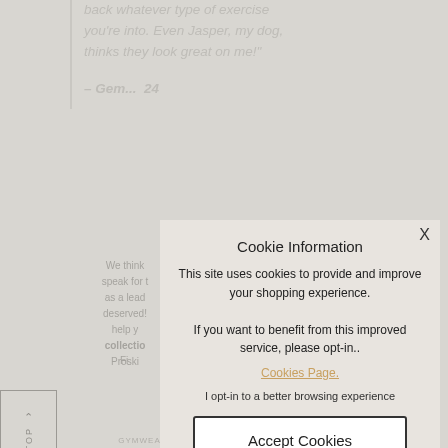back whatever type of exercise you're into. Even Jasper, my dog, thinks they look great on me!"
– Gem... 24
We think... speak for t... as a lead... deserved!... help y... collection... Proskin...
Fi...
[Figure (screenshot): Cookie Information modal overlay with title 'Cookie Information', description text about cookies, a 'Cookies Page.' link, opt-in text, and 'Accept Cookies' button. Has an X close button in top right.]
GYMWEAR   PROSKINS   PROSKINS ACTIVE